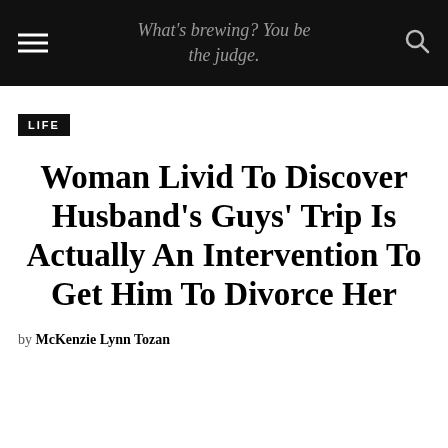What's brewing? You be the judge.
LIFE
Woman Livid To Discover Husband's Guys' Trip Is Actually An Intervention To Get Him To Divorce Her
by McKenzie Lynn Tozan